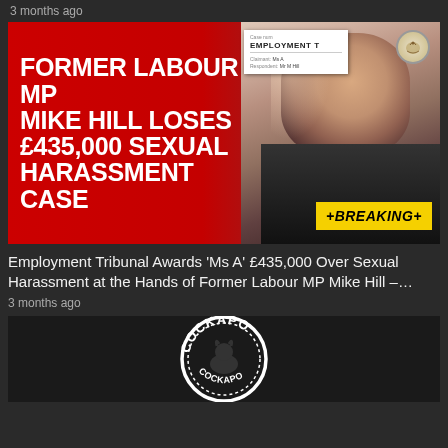3 months ago
[Figure (screenshot): News thumbnail image showing red background with bold white text reading 'FORMER LABOUR MP MIKE HILL LOSES £435,000 SEXUAL HARASSMENT CASE' with a man's photo on the right, an employment tribunal document overlay, and a yellow breaking news badge reading '+BREAKING+']
Employment Tribunal Awards 'Ms A' £435,000 Over Sexual Harassment at the Hands of Former Labour MP Mike Hill – ...
3 months ago
[Figure (logo): Partial view of a circular logo on dark background with text 'COCKAPO' visible at top in white bold letters, with a dog silhouette in the center]